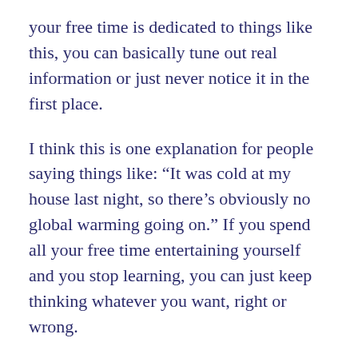your free time is dedicated to things like this, you can basically tune out real information or just never notice it in the first place.
I think this is one explanation for people saying things like: “It was cold at my house last night, so there’s obviously no global warming going on.” If you spend all your free time entertaining yourself and you stop learning, you can just keep thinking whatever you want, right or wrong.
So again, sorry for this brief interruption to your holiday. Please go on laughing at the same jokes your father has told 175 times. Drink an egg nog (with rum or without). Cherish the great gifts that you have. It took a trip to death’s door to wake me up to what a great family I have and what great friends. I’ll spare you the details, but I’ll just say again, Happy Holidays.